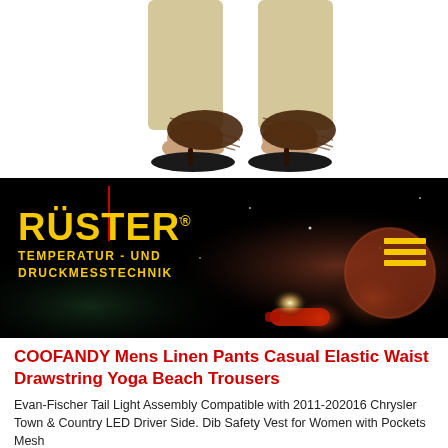[Figure (photo): Product photo showing a person wearing dark brown flip-flop sandals with beige/linen pants on white background. Both feet visible.]
[Figure (screenshot): Rüster brand banner with black background, yellow RÜSTER logo text with registered trademark symbol, red vertical accent line, subtitle TEMPERATUR - UND DRUCKMESSTECHNIK in yellow, hamburger menu icon in yellow on right, and atmospheric space/nebula imagery in background.]
COOFANDY Mens Linen Pants Casual Elastic Waist Drawstring Yoga Beach Trousers
Evan-Fischer Tail Light Assembly Compatible with 2011-202016 Chrysler Town & Country LED Driver Side. Dib Safety Vest for Women with Pockets Mesh